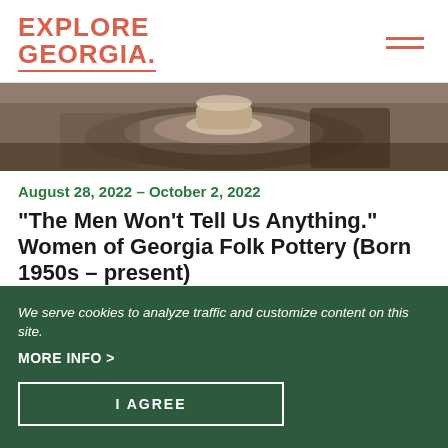EXPLORE GEORGIA (logo with hamburger menu)
[Figure (photo): Close-up photograph of hands shaping clay on a pottery wheel]
August 28, 2022 – October 2, 2022
"The Men Won't Tell Us Anything." Women of Georgia Folk Pottery (Born 1950s – present)
We serve cookies to analyze traffic and customize content on this site.
MORE INFO >
I AGREE